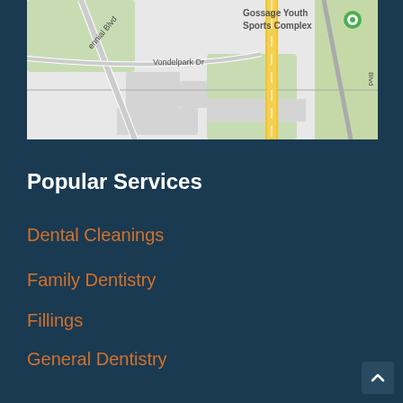[Figure (map): Google Maps view showing Vondelpark Dr, Gossage Youth Sports Complex with a green location pin, and a yellow road running vertically through the map.]
Popular Services
Dental Cleanings
Family Dentistry
Fillings
General Dentistry
Invisalign
Teeth Whitening